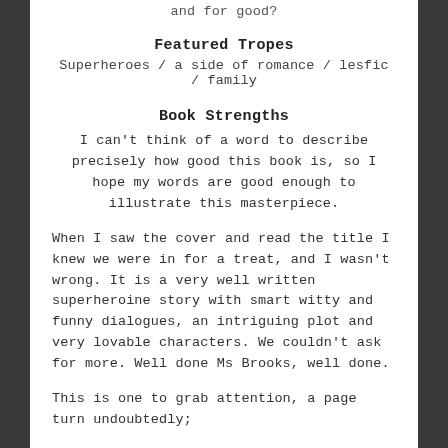and for good?
Featured Tropes
Superheroes / a side of romance / lesfic / family
Book Strengths
I can't think of a word to describe precisely how good this book is, so I hope my words are good enough to illustrate this masterpiece.
When I saw the cover and read the title I knew we were in for a treat, and I wasn't wrong. It is a very well written superheroine story with smart witty and funny dialogues, an intriguing plot and very lovable characters. We couldn't ask for more. Well done Ms Brooks, well done.
This is one to grab attention, a page turn undoubtedly;